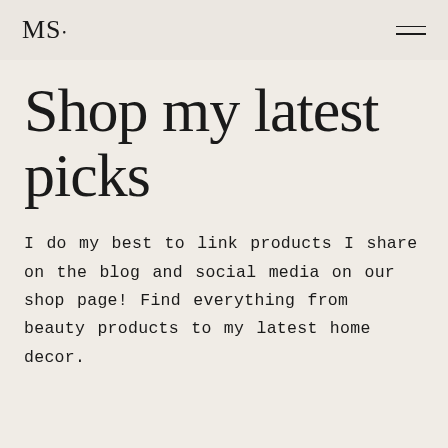MS•
Shop my latest picks
I do my best to link products I share on the blog and social media on our shop page! Find everything from beauty products to my latest home decor.